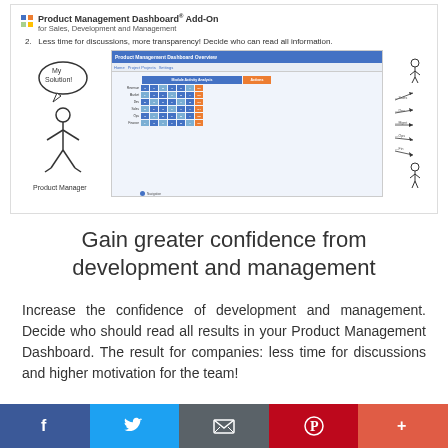[Figure (screenshot): Product Management Dashboard Add-On screenshot with stick figure 'Product Manager' and dashboard UI showing colored grid/matrix. Item 2: Less time for discussions, more transparency! Decide who can read all information.]
Gain greater confidence from development and management
Increase the confidence of development and management. Decide who should read all results in your Product Management Dashboard. The result for companies: less time for discussions and higher motivation for the team!
f  (Twitter bird)  (email)  (Pinterest)  +